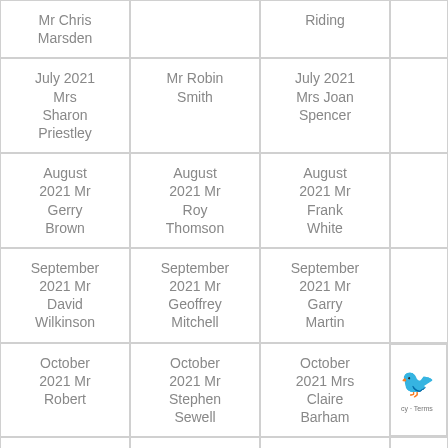| Mr Chris Marsden |  | Riding |
| July 2021 Mrs Sharon Priestley | Mr Robin Smith | July 2021 Mrs Joan Spencer |
| August 2021 Mr Gerry Brown | August 2021 Mr Roy Thomson | August 2021 Mr Frank White |
| September 2021 Mr David Wilkinson | September 2021 Mr Geoffrey Mitchell | September 2021 Mr Garry Martin |
| October 2021 Mr Robert | October 2021 Mr Stephen Sewell | October 2021 Mrs Claire Barham |
|  | November 2021 Mr |  |